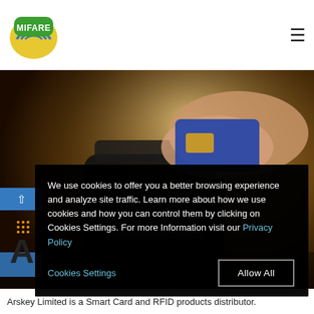MIFARE
[Figure (photo): Close-up photo of a hand tapping a card/phone on a payment terminal POS device on a counter]
We use cookies to offer you a better browsing experience and analyze site traffic. Learn more about how we use cookies and how you can control them by clicking on Cookies Settings. For more Information visit our Privacy Policy
Cookies Settings
Allow All
Arskey Limited is a Smart Card and RFID products distributor.